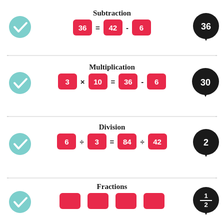[Figure (infographic): Subtraction section: teal checkmark circle on left, equation '36 = 42 - 6' in red cards in center, black speech bubble with '36' on right]
Subtraction
[Figure (infographic): Multiplication section: teal checkmark circle on left, equation '3 × 10 = 36 - 6' in red cards in center, black speech bubble with '30' on right]
Multiplication
[Figure (infographic): Division section: teal checkmark circle on left, equation '6 ÷ 3 = 84 ÷ 42' in red cards in center, black speech bubble with '2' on right]
Division
[Figure (infographic): Fractions section: teal checkmark circle on left, red cards with fraction content in center, black speech bubble with '1/2' on right]
Fractions